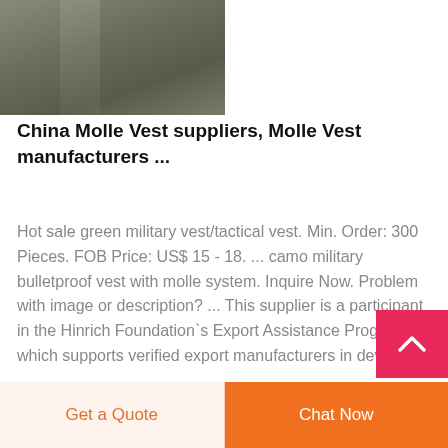[Figure (photo): Photo of a military/tactical vest with molle system, dark olive/gray color, partially cropped]
China Molle Vest suppliers, Molle Vest manufacturers ...
Hot sale green military vest/tactical vest. Min. Order: 300 Pieces. FOB Price: US$ 15 - 18. ... camo military bulletproof vest with molle system. Inquire Now. Problem with image or description? ... This supplier is a participant in the Hinrich Foundation`s Export Assistance Program, which supports verified export manufacturers in developing ...